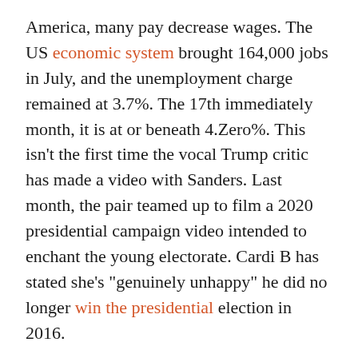America, many pay decrease wages. The US economic system brought 164,000 jobs in July, and the unemployment charge remained at 3.7%. The 17th immediately month, it is at or beneath 4.Zero%. This isn't the first time the vocal Trump critic has made a video with Sanders. Last month, the pair teamed up to film a 2020 presidential campaign video intended to enchant the young electorate. Cardi B has stated she's "genuinely unhappy" he did no longer win the presidential election in 2016.
NEW DELHI: EtechAces Marketing and Consulting, the operator.
Dahiya studied at Sandeepa School in Jammu city